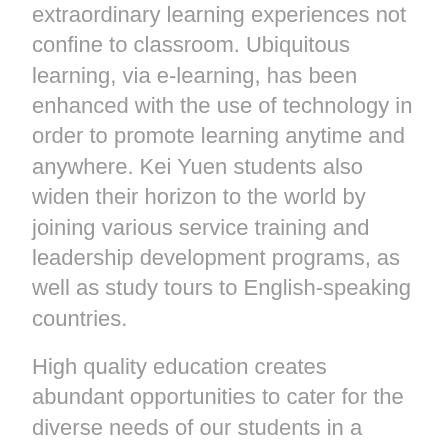extraordinary learning experiences not confine to classroom. Ubiquitous learning, via e-learning, has been enhanced with the use of technology in order to promote learning anytime and anywhere. Kei Yuen students also widen their horizon to the world by joining various service training and leadership development programs, as well as study tours to English-speaking countries.
High quality education creates abundant opportunities to cater for the diverse needs of our students in a changing world. We recognize and put special attention to students' individuality and develop their individual potential so that they could treasure themselves, cherish others and love God.
Our graduates are proud of being part of the Kei Yuen family. They understand their duty and